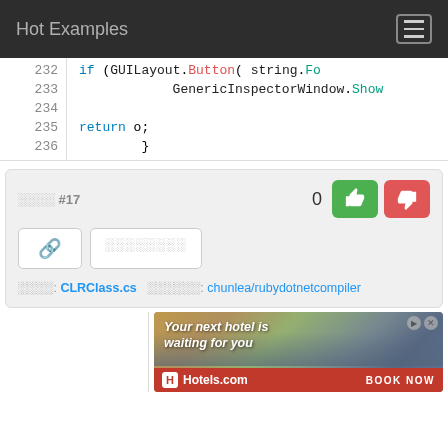Hot Examples
[Figure (screenshot): Code snippet showing lines 232-236 with syntax-highlighted C# code: if (GUILayout.Button( string.Fo, GenericInspectorWindow.Show, return o;, }]
例子 #17   0
源文件: CLRClass.cs   所属项目: chunlea/rubydotnetcompiler
[Figure (photo): Hotels.com advertisement: Your next hotel is waiting for you. BOOK NOW.]